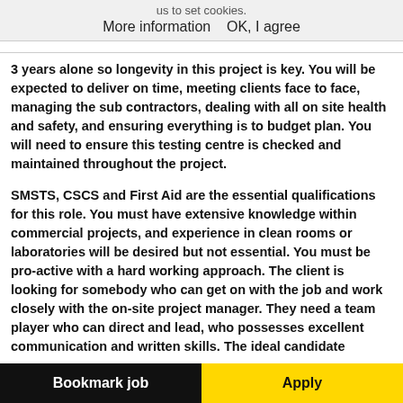us to set cookies. More information   OK, I agree
3 years alone so longevity in this project is key. You will be expected to deliver on time, meeting clients face to face, managing the sub contractors, dealing with all on site health and safety, and ensuring everything is to budget plan. You will need to ensure this testing centre is checked and maintained throughout the project.
SMSTS, CSCS and First Aid are the essential qualifications for this role. You must have extensive knowledge within commercial projects, and experience in clean rooms or laboratories will be desired but not essential. You must be pro-active with a hard working approach. The client is looking for somebody who can get on with the job and work closely with the on-site project manager. They need a team player who can direct and lead, who possesses excellent communication and written skills. The ideal candidate
Bookmark job   Apply